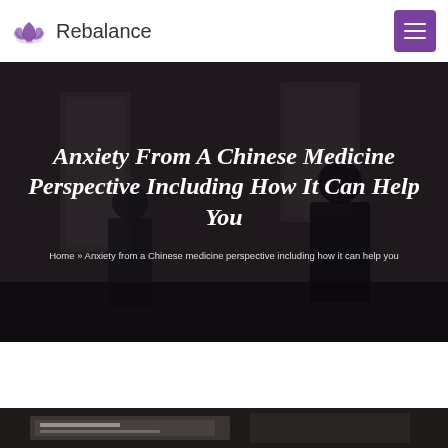Rebalance
Anxiety From A Chinese Medicine Perspective Including How It Can Help You
Home » Anxiety from a Chinese medicine perspective including how it can help you
[Figure (photo): Dark background photo showing silhouettes of people in a room, used as hero banner background]
[Figure (photo): Bottom strip showing partial view of a document or paper on a dark surface]